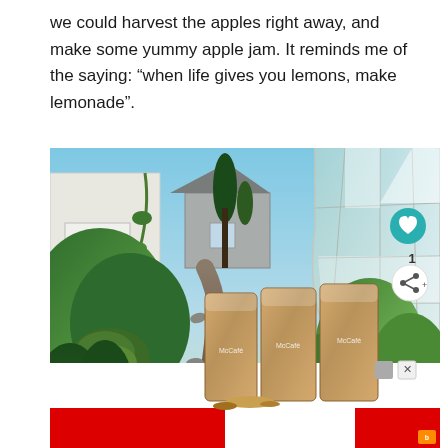we could harvest the apples right away, and make some yummy apple jam. It reminds me of the saying: “when life gives you lemons, make lemonade”.
[Figure (photo): Outdoor vegetable garden with lush green plants, a stone-lined dirt path, orange flowers, a white building on the left, a grey house in the background center, and a large greenhouse structure on the right. Social media interaction icons (heart and share) visible on the right edge. An advertisement for McCafe iced coffee drinks overlays the bottom portion of the image.]